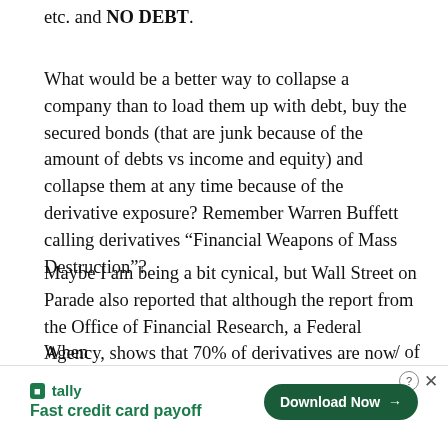etc. and NO DEBT.
What would be a better way to collapse a company than to load them up with debt, buy the secured bonds (that are junk because of the amount of debts vs income and equity) and collapse them at any time because of the derivative exposure? Remember Warren Buffett calling derivatives “Financial Weapons of Mass Destruction”?
Maybe I am being a bit cynical, but Wall Street on Parade also reported that although the report from the Office of Financial Research, a Federal Agency, shows that 70% of derivatives are now held by private corporations but there is no reporting of just which companies these are. I would like to know that myself! It could be a major warning sign [Close X] estors.
[Figure (infographic): Advertisement banner: Tally app - Fast credit card payoff, with Download Now button and close/help controls]
When ... / of